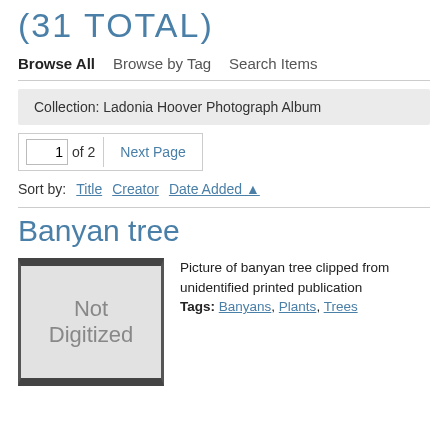(31 TOTAL)
Browse All   Browse by Tag   Search Items
Collection: Ladonia Hoover Photograph Album
1 of 2  Next Page
Sort by:   Title   Creator   Date Added ▲
Banyan tree
[Figure (other): Placeholder thumbnail showing 'Not Digitized' text in grey box with dark border]
Picture of banyan tree clipped from unidentified printed publication
Tags: Banyans, Plants, Trees